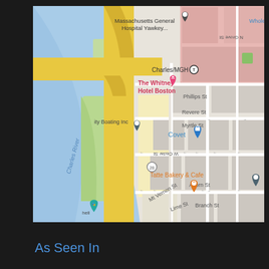[Figure (map): Google Maps screenshot showing the Charles/MGH area of Boston, MA. Features the Charles River on the left, yellow highway roads, and labeled locations including Massachusetts General Hospital Yawkey, Whole Foods, The Whitney Hotel Boston, Charles/MGH subway station, City Boating Inc, Covet, Tatte Bakery & Cafe, Acorn St. Streets visible include Phillips St, Garden St, Revere St, Myrtle St, W Cedar St, N Grove St, Mt Vernon St, Lime St, Branch St.]
As Seen In